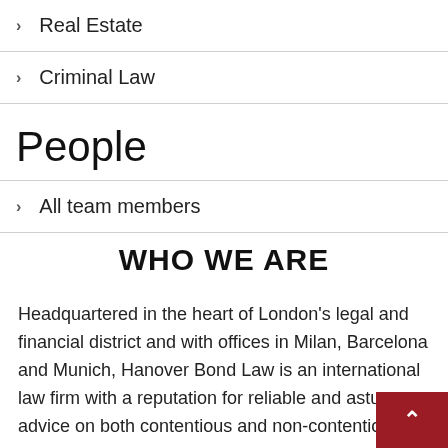Real Estate
Criminal Law
People
All team members
WHO WE ARE
Headquartered in the heart of London's legal and financial district and with offices in Milan, Barcelona and Munich, Hanover Bond Law is an international law firm with a reputation for reliable and astute advice on both contentious and non-contentious matters.